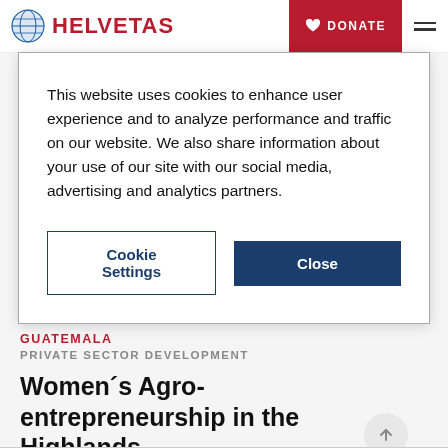HELVETAS | DONATE
This website uses cookies to enhance user experience and to analyze performance and traffic on our website. We also share information about your use of our site with our social media, advertising and analytics partners.
Cookie Settings | Close
GUATEMALA
PRIVATE SECTOR DEVELOPMENT
Women´s Agro-entrepreneurship in the Highlands